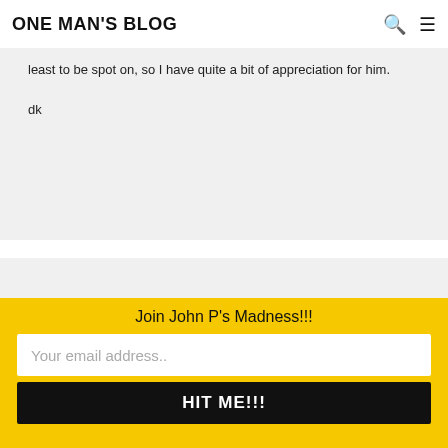ONE MAN'S BLOG
least to be spot on, so I have quite a bit of appreciation for him.

dk
Sasha T. says
October 13, 2007 at 6:41 am
Join John P's Madness!!!
Your email address..
HIT ME!!!